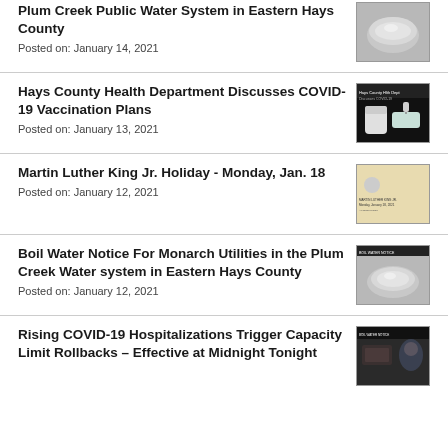Plum Creek Public Water System in Eastern Hays County
Posted on: January 14, 2021
Hays County Health Department Discusses COVID-19 Vaccination Plans
Posted on: January 13, 2021
Martin Luther King Jr. Holiday - Monday, Jan. 18
Posted on: January 12, 2021
Boil Water Notice For Monarch Utilities in the Plum Creek Water system in Eastern Hays County
Posted on: January 12, 2021
Rising COVID-19 Hospitalizations Trigger Capacity Limit Rollbacks – Effective at Midnight Tonight